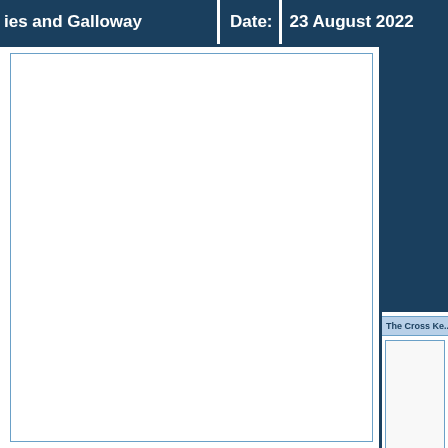ies and Galloway    Date: 23 August 2022
[Figure (other): Large empty white panel with blue border, main content area]
[Figure (other): Dark navy blue block in top-right area]
The Cross Ke...
[Figure (other): Light bordered box 1 in Cross Keys section]
[Figure (other): Light bordered box 2 in Cross Keys section]